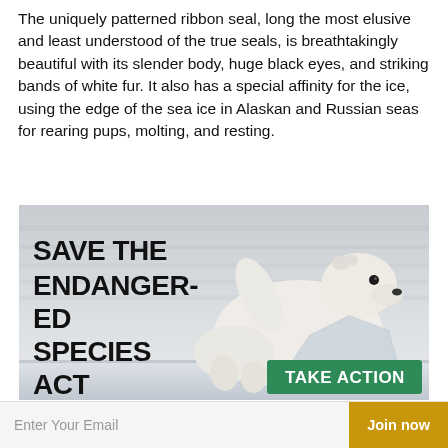The uniquely patterned ribbon seal, long the most elusive and least understood of the true seals, is breathtakingly beautiful with its slender body, huge black eyes, and striking bands of white fur. It also has a special affinity for the ice, using the edge of the sea ice in Alaskan and Russian seas for rearing pups, molting, and resting.
[Figure (photo): Advertisement image showing a polar bear climbing onto ice with bold text 'SAVE THE ENDANGERED SPECIES ACT' on the left and a green 'TAKE ACTION' button at the bottom right.]
The Endangered Species Act is under attack. We need your help fighting back.
Enter Your Email